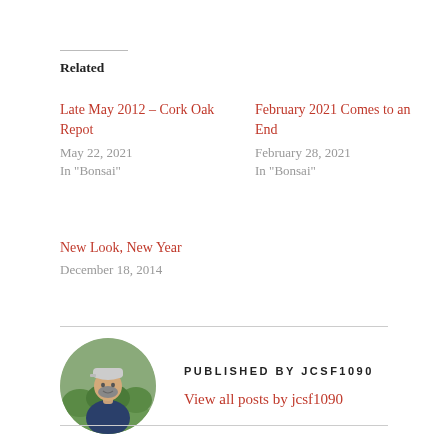Related
Late May 2012 – Cork Oak Repot
May 22, 2021
In "Bonsai"
February 2021 Comes to an End
February 28, 2021
In "Bonsai"
New Look, New Year
December 18, 2014
[Figure (photo): Circular avatar photo of a bearded man wearing a white cap, outdoors near bonsai trees]
PUBLISHED BY JCSF1090
View all posts by jcsf1090